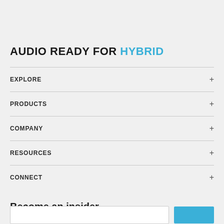AUDIO READY FOR HYBRID
EXPLORE
PRODUCTS
COMPANY
RESOURCES
CONNECT
Become an insider
Subscribe to get news, resources and more